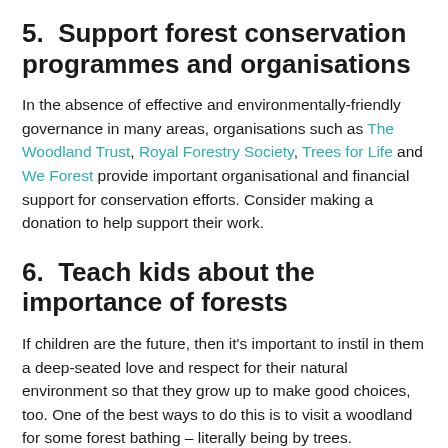5.  Support forest conservation programmes and organisations
In the absence of effective and environmentally-friendly governance in many areas, organisations such as The Woodland Trust, Royal Forestry Society, Trees for Life and We Forest provide important organisational and financial support for conservation efforts. Consider making a donation to help support their work.
6.  Teach kids about the importance of forests
If children are the future, then it's important to instil in them a deep-seated love and respect for their natural environment so that they grow up to make good choices, too. One of the best ways to do this is to visit a woodland for some forest bathing – literally being by trees.